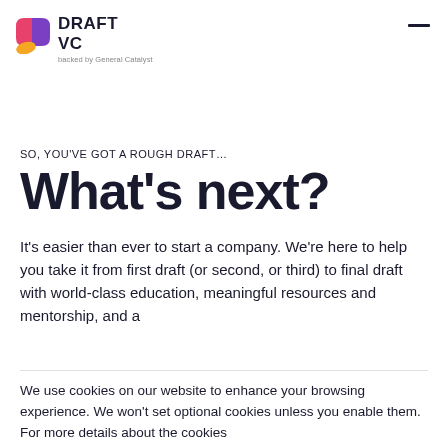DRAFT VC — backed by General Catalyst
SO, YOU'VE GOT A ROUGH DRAFT…
What's next?
It's easier than ever to start a company. We're here to help you take it from first draft (or second, or third) to final draft with world-class education, meaningful resources and mentorship, and a
We use cookies on our website to enhance your browsing experience. We won't set optional cookies unless you enable them. For more details about the cookies